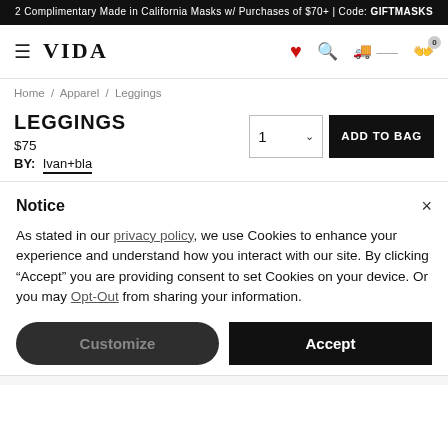2 Complimentary Made in California Masks w/ Purchases of $70+ | Code: GIFTMASKS
[Figure (screenshot): VIDA logo navigation bar with hamburger menu, heart icon, search icon, shipping tracker icon, and bag icon with 0 badge]
Home / Apparel / Leggings
LEGGINGS
$75
BY: Ivan+bla
Notice ×
As stated in our privacy policy, we use Cookies to enhance your experience and understand how you interact with our site. By clicking "Accept" you are providing consent to set Cookies on your device. Or you may Opt-Out from sharing your information.
Customize | Accept